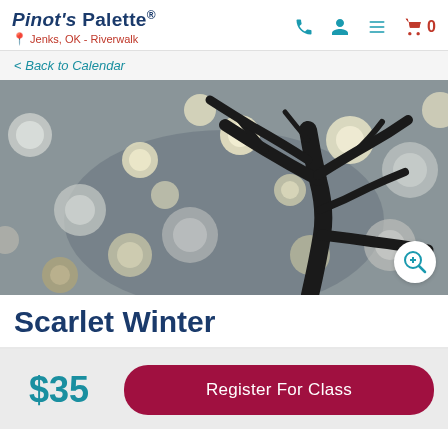Pinot's Palette — Jenks, OK - Riverwalk
< Back to Calendar
[Figure (photo): Painting of a bare dark tree silhouette against a grey background with scattered glowing circles in white, yellow, and grey tones — the artwork titled Scarlet Winter by Pinot's Palette.]
Scarlet Winter
$35
Register For Class